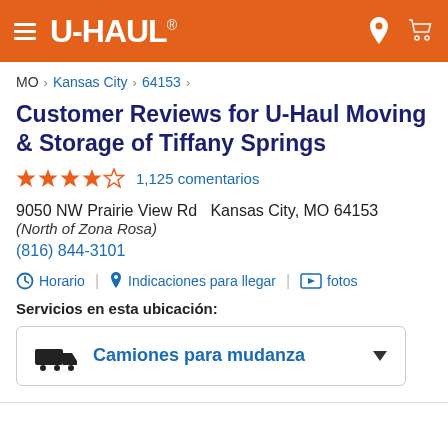U-HAUL® navigation header with hamburger menu, logo, location pin and cart icons
MO > Kansas City > 64153 >
Customer Reviews for U-Haul Moving & Storage of Tiffany Springs
★★★★☆ 1,125 comentarios
9050 NW Prairie View Rd   Kansas City, MO 64153
(North of Zona Rosa)
(816) 844-3101
Horario | Indicaciones para llegar | fotos
Servicios en esta ubicación:
Camiones para mudanza